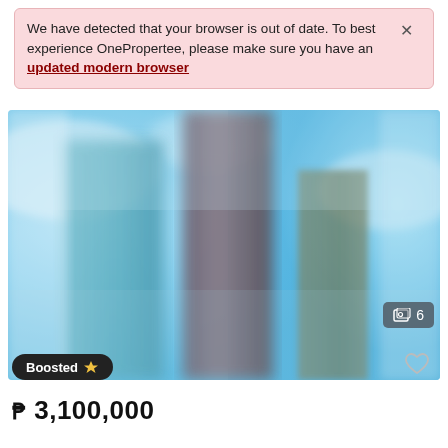We have detected that your browser is out of date. To best experience OnePropertee, please make sure you have an updated modern browser
[Figure (photo): Blurred photograph of tall buildings/skyscrapers against a blue sky, used as a property listing thumbnail]
6
Boosted
₱ 3,100,000